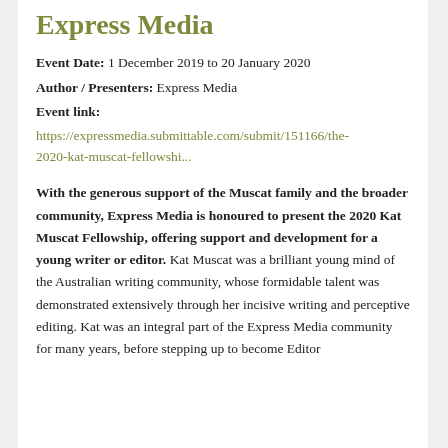Express Media
Event Date: 1 December 2019 to 20 January 2020
Author / Presenters: Express Media
Event link:
https://expressmedia.submittable.com/submit/151166/the-2020-kat-muscat-fellowshi...
With the generous support of the Muscat family and the broader community, Express Media is honoured to present the 2020 Kat Muscat Fellowship, offering support and development for a young writer or editor. Kat Muscat was a brilliant young mind of the Australian writing community, whose formidable talent was demonstrated extensively through her incisive writing and perceptive editing. Kat was an integral part of the Express Media community for many years, before stepping up to become Editor